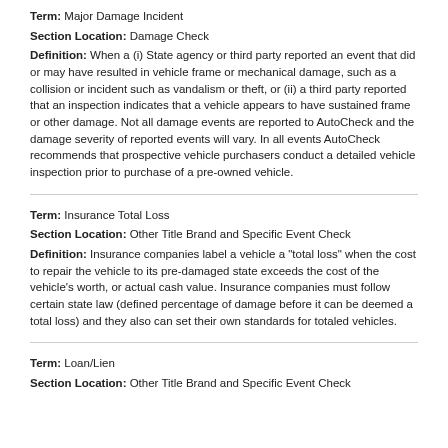Term: Major Damage Incident
Section Location: Damage Check
Definition: When a (i) State agency or third party reported an event that did or may have resulted in vehicle frame or mechanical damage, such as a collision or incident such as vandalism or theft, or (ii) a third party reported that an inspection indicates that a vehicle appears to have sustained frame or other damage. Not all damage events are reported to AutoCheck and the damage severity of reported events will vary. In all events AutoCheck recommends that prospective vehicle purchasers conduct a detailed vehicle inspection prior to purchase of a pre-owned vehicle.
Term: Insurance Total Loss
Section Location: Other Title Brand and Specific Event Check
Definition: Insurance companies label a vehicle a "total loss" when the cost to repair the vehicle to its pre-damaged state exceeds the cost of the vehicle's worth, or actual cash value. Insurance companies must follow certain state law (defined percentage of damage before it can be deemed a total loss) and they also can set their own standards for totaled vehicles.
Term: Loan/Lien
Section Location: Other Title Brand and Specific Event Check